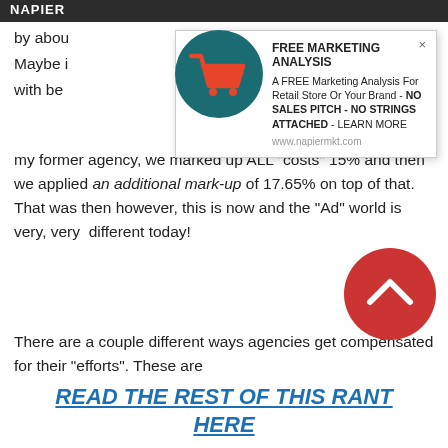NAPI...
[Figure (screenshot): Popup advertisement box: FREE MARKETING ANALYSIS - A FREE Marketing Analysis For Retail Store Or Your Brand - NO SALES PITCH - NO STRINGS ATTACHED - LEARN MORE - www.napiermkt.com, with shopping cart icon]
my former agency, we marked up ALL "costs" 15% and then we applied an additional mark-up of 17.65% on top of that. That was then however, this is now and the "Ad" world is very, very different today!
There are a couple different ways agencies get compensated for their "efforts". These are
[Figure (illustration): Red circle button with upward chevron arrow (scroll to top button)]
READ THE REST OF THIS RANT HERE